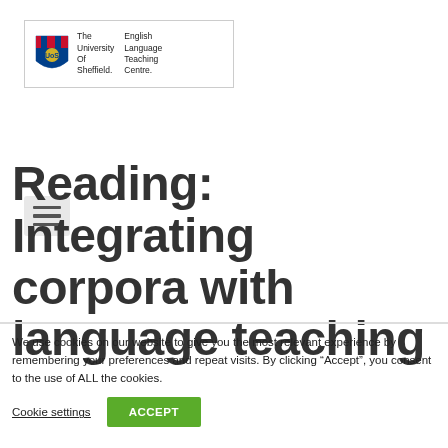[Figure (logo): The University of Sheffield English Language Teaching Centre logo — shield crest with text]
[Figure (other): Hamburger menu icon — three horizontal lines on a grey square background]
Reading: Integrating corpora with language teaching
We use cookies on our website to give you the most relevant experience by remembering your preferences and repeat visits. By clicking “Accept”, you consent to the use of ALL the cookies.
Cookie settings   ACCEPT